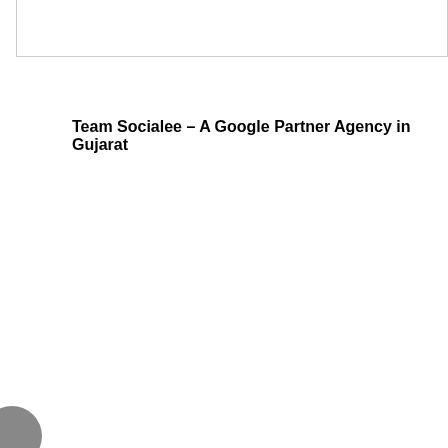Team Socialee – A Google Partner Agency in Gujarat